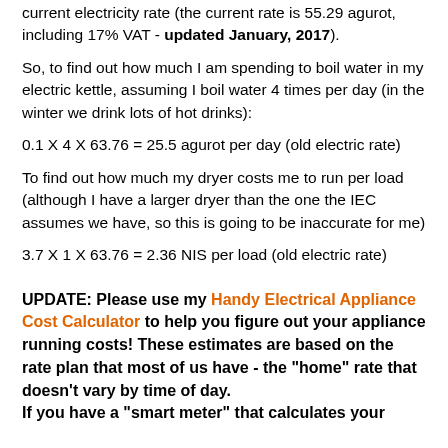current electricity rate (the current rate is 55.29 agurot, including 17% VAT - updated January, 2017).
So, to find out how much I am spending to boil water in my electric kettle, assuming I boil water 4 times per day (in the winter we drink lots of hot drinks):
To find out how much my dryer costs me to run per load (although I have a larger dryer than the one the IEC assumes we have, so this is going to be inaccurate for me)
UPDATE: Please use my Handy Electrical Appliance Cost Calculator to help you figure out your appliance running costs! These estimates are based on the rate plan that most of us have - the "home" rate that doesn't vary by time of day. If you have a "smart meter" that calculates your